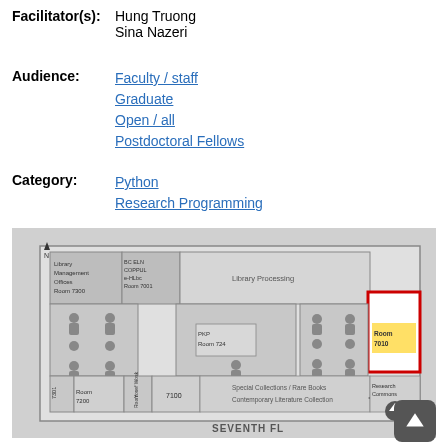Facilitator(s): Hung Truong
Sina Nazeri
Audience: Faculty / staff
Graduate
Open / all
Postdoctoral Fellows
Category: Python
Research Programming
[Figure (map): Floor map of the Seventh Floor of a library building showing Library Management Offices Room 7300, BC ELN COPPUL e-HLbc Room 7001, Library Processing area, PKP Room 724, Room 7010 highlighted in red/yellow, Research Commons, Special Collections / Rare Books Contemporary Literature Collection, rooms 7301, 7200, Yosef Wosk Room, and 7100. North arrow indicated.]